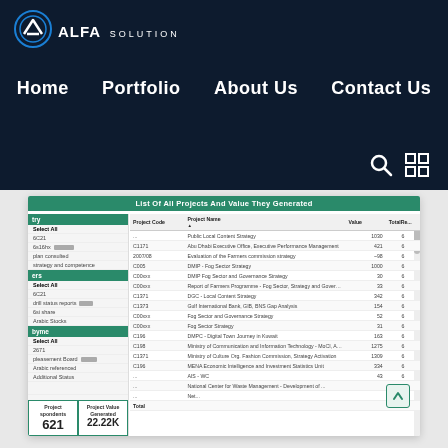[Figure (logo): ALFA SOLUTION logo with circular icon on dark navy background]
Home | Portfolio | About Us | Contact Us
List Of All Projects And Value They Generated
| Project Code | Project Name | Value | TotalRe... |
| --- | --- | --- | --- |
| ... | Public Local Content Strategy | 1030 | 6 |
| C1171 | Abu Dhabi Executive Office, Executive Performance Management | 421 | 6 |
| 2007/08 | Evaluation of the Farmers commission strategy | ~98 | 6 |
| C005 | DMIP - Fog Sector Strategy | 1000 | 6 |
| C00xxx | DMIP Fog Sector and Governance Strategy | 30 | 6 |
| C00xxx | Report of Farmers Programme - Fog Sector Strategy and Governance | 33 | 6 |
| C1371 | DGC - Local Content Strategy | 342 | 6 |
| C1373 | Gulf International Bank, GIB, BNS Gap Analysis | 154 | 6 |
| C00xxx | Fog Sector and Governance Strategy | 52 | 6 |
| C00xxx | Fog Sector Strategy | 31 | 6 |
| C196 | DMPC - Digital Town Journey in Kuwait | 163 | 6 |
| C198 | Ministry of Communication and Information Technology - MoCI, Al B.C. | 1275 | 6 |
| C1371 | Ministry of Culture Org. Fashion Commission, Strategy Activation | 1309 | 6 |
| C196 | MENA Economic Intelligence and Investment Statistics Unit | 334 | 6 |
| ... | AIS - WC | 43 | 6 |
| ... | National Center for Waste Management - Development of ... |  | 6 |
| ... | Net... |  | 6 |
| Total |  |  |  |
Project respondents: 621
Project Value Generated: 22.22K